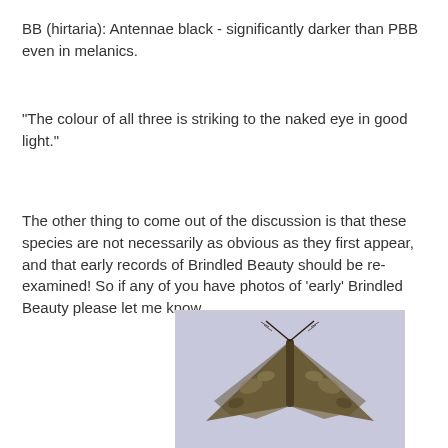BB (hirtaria): Antennae black - significantly darker than PBB even in melanics.
"The colour of all three is striking to the naked eye in good light."
The other thing to come out of the discussion is that these species are not necessarily as obvious as they first appear, and that early records of Brindled Beauty should be re-examined! So if any of you have photos of 'early' Brindled Beauty please let me know.
[Figure (photo): Close-up photograph of a moth (likely Brindled Beauty) viewed from above, showing mottled brown and grey wing pattern, resting on a pale lavender-grey background. The moth's wings are spread showing intricate markings.]